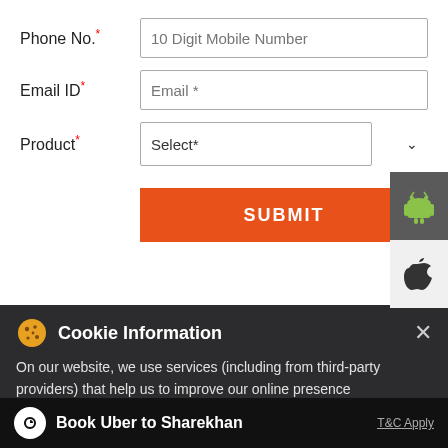Phone No.*
10 Digit Mobile Number
Email ID*
Email *
Product*
Select*
SUBMIT
[Figure (logo): Android robot icon on dark background]
[Figure (logo): Apple logo icon on light gray background]
TIMELINE
Cookie Information
On our website, we use services (including from third-party providers) that help us to improve our online presence (optimization of website) and to display content that is geared to their interests. We need your consent before being able to use these services.
Book Uber to Sharekhan
T&C Apply